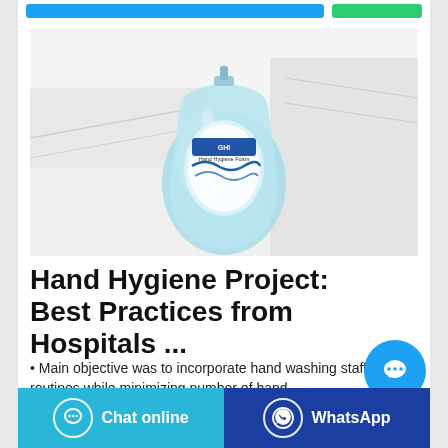[Figure (photo): A blue hand sanitizer/hand hygiene pump bottle on white folded towels/cloth background]
Hand Hygiene Project: Best Practices from Hospitals ...
Main objective was to incorporate hand washing staff routines while minimizing number of hand
[Figure (other): Floating chat bubble icon (cyan circle with ellipsis)]
Chat online | WhatsApp